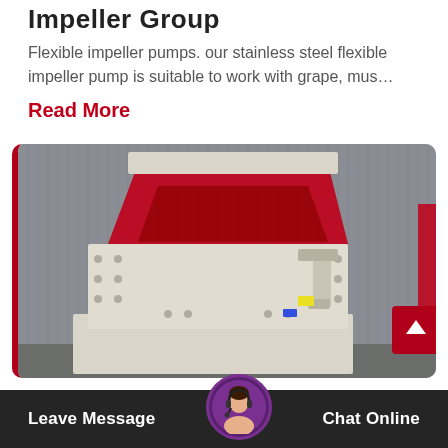Impeller Group
Flexible impeller pumps. our stainless steel flexible impeller pump is suitable to work with grape, mus…
Read More
[Figure (photo): Industrial hammer mill or shredder machine — large white/cream colored heavy-duty machine with red interior hopper, bolted panels, and mechanical components, photographed outdoors against a corrugated metal wall background.]
Leave Message
Chat Online